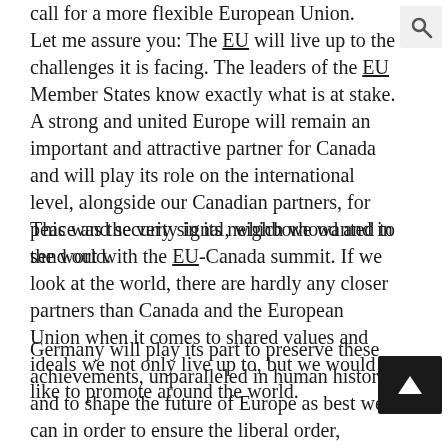call for a more flexible European Union. Let me assure you: The EU will live up to the challenges it is facing. The leaders of the EU Member States know exactly what is at stake. A strong and united Europe will remain an important and attractive partner for Canada and will play its role on the international level, alongside our Canadian partners, for peace and security in its neighborhood and in the world.
This was the very signal, which we wanted to send out with the EU-Canada summit. If we look at the world, there are hardly any closer partners than Canada and the European Union when it comes to shared values and ideals we not only live up to, but we would like to promote around the world.
Germany will play its part to preserve these achievements, unparalleled in human history, and to shape the future of Europe as best we can in order to ensure the liberal order, pluralism, open societies, political stability, economic pro… social inclusiveness and absence of major conflict that so…